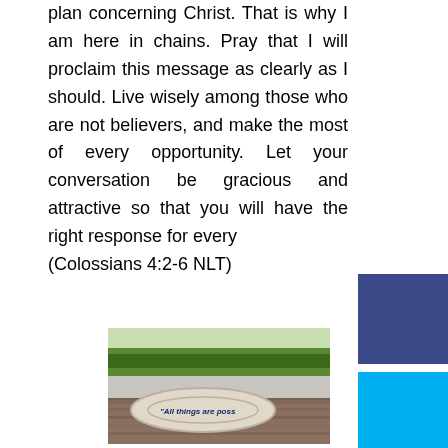plan concerning Christ. That is why I am here in chains. Pray that I will proclaim this message as clearly as I should. Live wisely among those who are not believers, and make the most of every opportunity. Let your conversation be gracious and attractive so that you will have the right response for every (Colossians 4:2-6 NLT)
[Figure (photo): A photo of a rubber wristband/bracelet resting on a wooden surface with green trees and sky in the background. The bracelet reads 'All things are poss' (text partially visible).]